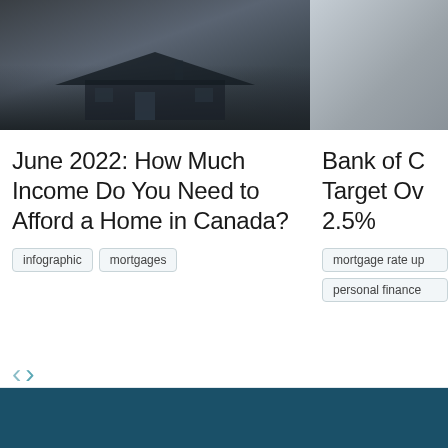[Figure (photo): Exterior photo of a residential home, dark toned]
June 2022: How Much Income Do You Need to Afford a Home in Canada?
infographic
mortgages
[Figure (photo): Portrait photo, partially visible, light gray tones]
Bank of C... Target Ov... 2.5%
mortgage rate up...
personal finance